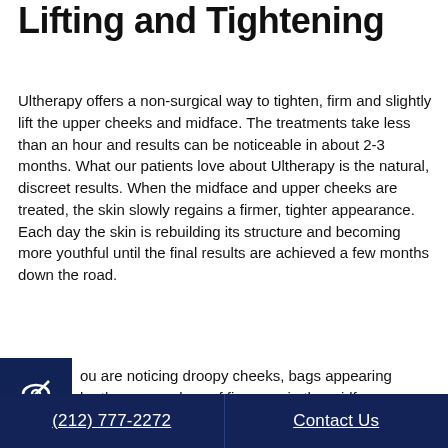Non-Surgical Cheek Lifting and Tightening
Ultherapy offers a non-surgical way to tighten, firm and slightly lift the upper cheeks and midface. The treatments take less than an hour and results can be noticeable in about 2-3 months. What our patients love about Ultherapy is the natural, discreet results. When the midface and upper cheeks are treated, the skin slowly regains a firmer, tighter appearance. Each day the skin is rebuilding its structure and becoming more youthful until the final results are achieved a few months down the road.
If you are noticing droopy cheeks, bags appearing under the eyes or loss of firmness in the midface,
(212) 777-2272    Contact Us